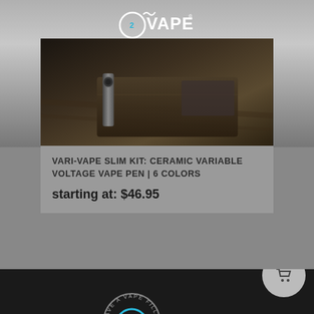[Figure (logo): O2Vape logo with circular O2 icon and vapor graphic, white text on smoky background]
[Figure (photo): Vape pen resting on a dark leather wallet on a wooden surface]
VARI-VAPE SLIM KIT: CERAMIC VARIABLE VOLTAGE VAPE PEN | 6 COLORS
starting at: $46.95
[Figure (logo): O2Vape circular badge logo with text 'HAVE A VAPE FILLED DA...' around it]
[Figure (other): Shopping cart button with red badge showing 0]